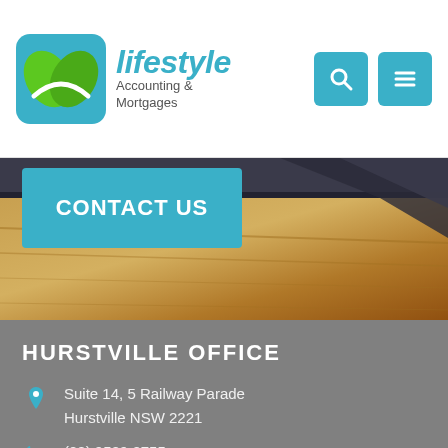[Figure (logo): Lifestyle Accounting & Mortgages logo with leaf icon and company name]
[Figure (photo): Close-up photo of a wooden surface with a dark laptop edge visible, used as hero/banner image]
CONTACT US
HURSTVILLE OFFICE
Suite 14, 5 Railway Parade
Hurstville NSW 2221
(02) 9529 0755
office@lifestyleaccounting.com.au